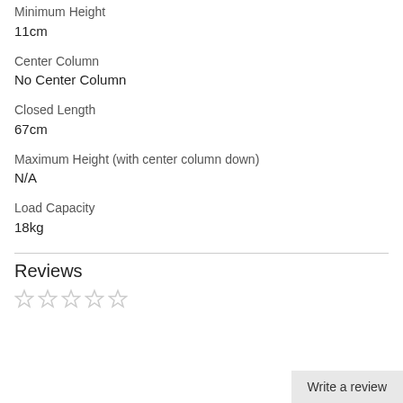Minimum Height
11cm
Center Column
No Center Column
Closed Length
67cm
Maximum Height (with center column down)
N/A
Load Capacity
18kg
Reviews
☆☆☆☆☆
Write a review